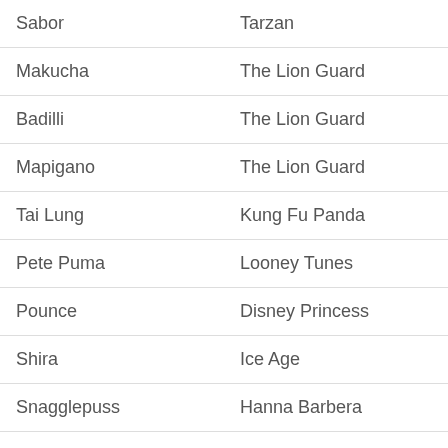| Character | Franchise |
| --- | --- |
| Sabor | Tarzan |
| Makucha | The Lion Guard |
| Badilli | The Lion Guard |
| Mapigano | The Lion Guard |
| Tai Lung | Kung Fu Panda |
| Pete Puma | Looney Tunes |
| Pounce | Disney Princess |
| Shira | Ice Age |
| Snagglepuss | Hanna Barbera |